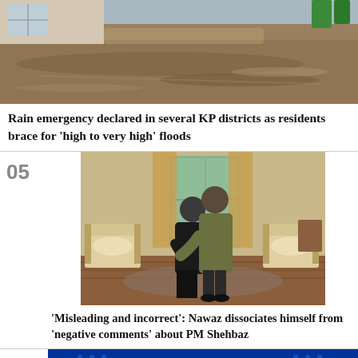[Figure (photo): Flooded street with brown water covering the road; green bins visible in background]
Rain emergency declared in several KP districts as residents brace for 'high to very high' floods
[Figure (photo): Two men embracing/hugging inside an elegant living room with gold curtains and wooden floors]
'Misleading and incorrect': Nawaz dissociates himself from 'negative comments' about PM Shehbaz
[Figure (photo): Partial view of a news banner with blue background and white/yellow text, article number 06]